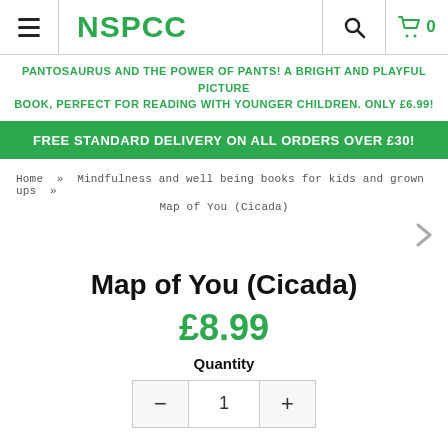NSPCC
PANTOSAURUS AND THE POWER OF PANTS! A BRIGHT AND PLAYFUL PICTURE BOOK, PERFECT FOR READING WITH YOUNGER CHILDREN. ONLY £6.99!
FREE STANDARD DELIVERY ON ALL ORDERS OVER £30!
Home » Mindfulness and well being books for kids and grown ups » Map of You (Cicada)
Map of You (Cicada)
£8.99
Quantity
1